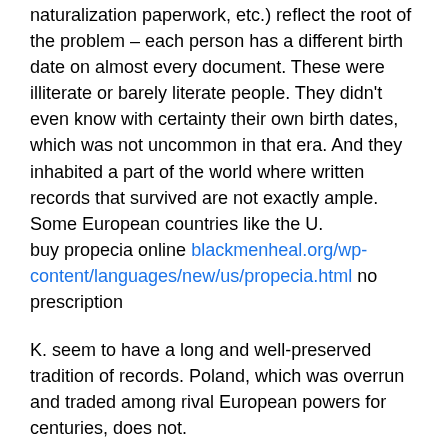naturalization paperwork, etc.) reflect the root of the problem – each person has a different birth date on almost every document. These were illiterate or barely literate people. They didn't even know with certainty their own birth dates, which was not uncommon in that era. And they inhabited a part of the world where written records that survived are not exactly ample. Some European countries like the U.
buy propecia online blackmenheal.org/wp-content/languages/new/us/propecia.html no prescription
K. seem to have a long and well-preserved tradition of records. Poland, which was overrun and traded among rival European powers for centuries, does not.
The other unsurprising find is that I descend from lines of entirely unremarkable people for the most part. I suppose everyone does genealogy hoping and expecting to find interesting stories or rich and famous long-lost relatives. I didn't harbor any illusions, but it's incredible the extent to which everyone prior to my dad (who was born in the U.S. and went to college) we were all…peasants, I guess. Because that's what the overwhelming majority of human history has been – anonymous people living anonymous lives